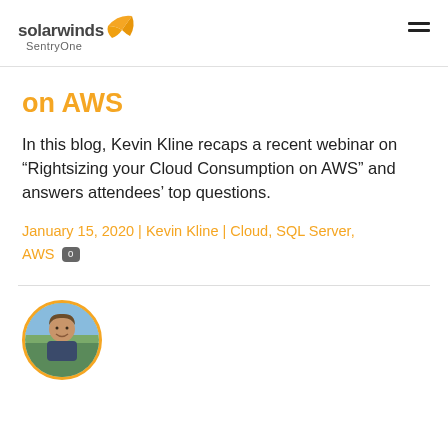[Figure (logo): SolarWinds SentryOne logo with orange winged icon]
on AWS
In this blog, Kevin Kline recaps a recent webinar on “Rightsizing your Cloud Consumption on AWS” and answers attendees’ top questions.
January 15, 2020 | Kevin Kline | Cloud, SQL Server, AWS 0
[Figure (photo): Circular profile photo of Kevin Kline, a man smiling outdoors]